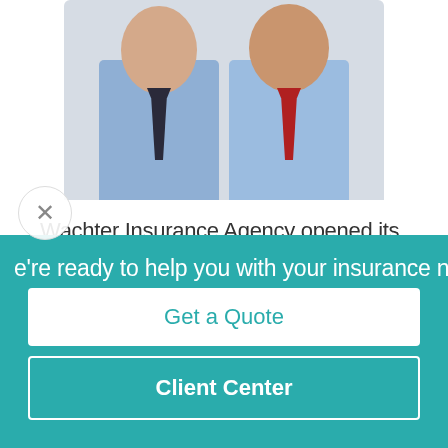[Figure (photo): Two men in blue dress shirts standing next to each other, one wearing a dark tie and one wearing a red tie, photographed from the waist up against a light background.]
Wachter Insurance Agency opened its doors in 1969 and was incorporated in 1996. As a third-generation, family-owned and operated agency, it is evident that our clients will feel a sense of true appreciation and care when working with
e're ready to help you with your insurance need
Get a Quote
Client Center